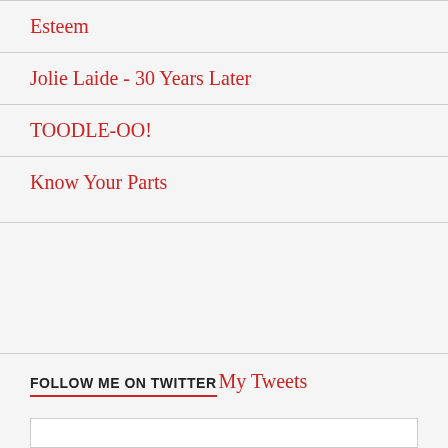Esteem
Jolie Laide - 30 Years Later
TOODLE-OO!
Know Your Parts
FOLLOW ME ON TWITTER My Tweets